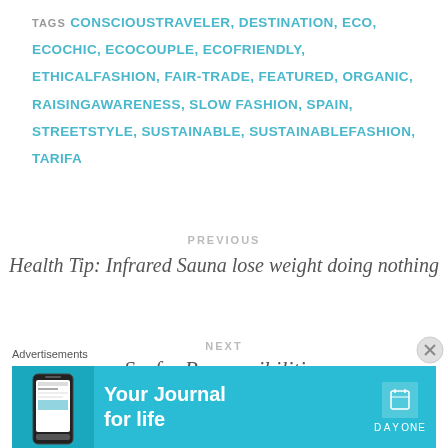TAGS  CONSCIOUSTRAVELER, DESTINATION, ECO, ECOCHIC, ECOCOUPLE, ECOFRIENDLY, ETHICALFASHION, FAIR-TRADE, FEATURED, ORGANIC, RAISINGAWARENESS, SLOW FASHION, SPAIN, STREETSTYLE, SUSTAINABLE, SUSTAINABLEFASHION, TARIFA
PREVIOUS
Health Tip: Infrared Sauna lose weight doing nothing
NEXT
Surfer Responsibilities
Advertisements
[Figure (other): Advertisement banner for DayOne: Your Journal for life app, light blue background with phone image on left, DayOne logo on right]